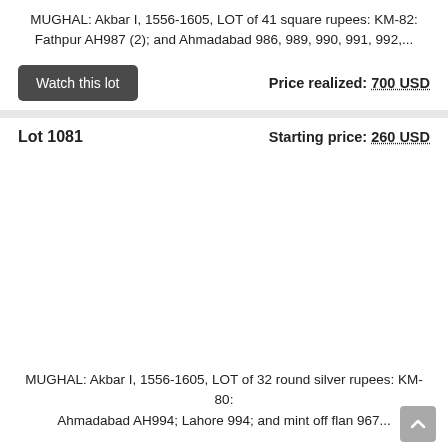MUGHAL: Akbar I, 1556-1605, LOT of 41 square rupees: KM-82: Fathpur AH987 (2); and Ahmadabad 986, 989, 990, 991, 992,...
Price realized: 700 USD
Lot 1081
Starting price: 260 USD
MUGHAL: Akbar I, 1556-1605, LOT of 32 round silver rupees: KM-80: Ahmadabad AH994; Lahore 994; and mint off flan 967...